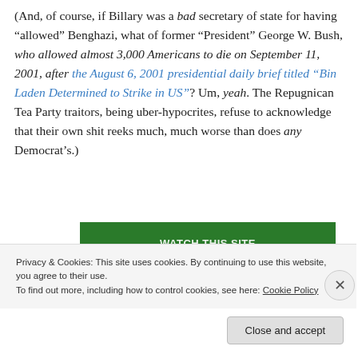(And, of course, if Billary was a bad secretary of state for having “allowed” Benghazi, what of former “President” George W. Bush, who allowed almost 3,000 Americans to die on September 11, 2001, after the August 6, 2001 presidential daily brief titled “Bin Laden Determined to Strike in US”? Um, yeah. The Repugnican Tea Party traitors, being uber-hypocrites, refuse to acknowledge that their own shit reeks much, much worse than does any Democrat’s.)
[Figure (other): Green banner with white text partially visible, showing what appears to be a website promotional button]
Privacy & Cookies: This site uses cookies. By continuing to use this website, you agree to their use.
To find out more, including how to control cookies, see here: Cookie Policy
Close and accept